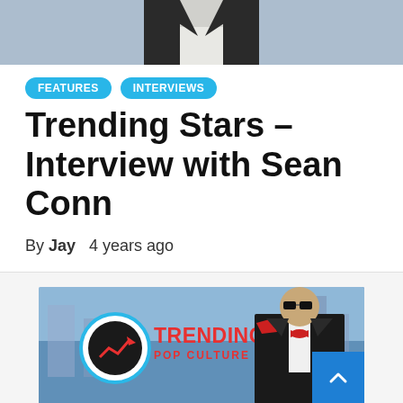[Figure (photo): Top portion of a person in a dark suit, cropped at upper body, against a blurred urban background]
FEATURES
INTERVIEWS
Trending Stars – Interview with Sean Conn
By Jay   4 years ago
[Figure (photo): Sean Conn wearing sunglasses, black suit with red bow tie and red pocket square, with Trending Pop Culture logo overlay]